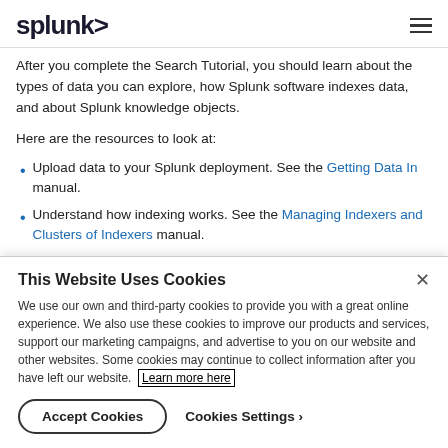splunk>
After you complete the Search Tutorial, you should learn about the types of data you can explore, how Splunk software indexes data, and about Splunk knowledge objects.
Here are the resources to look at:
Upload data to your Splunk deployment. See the Getting Data In manual.
Understand how indexing works. See the Managing Indexers and Clusters of Indexers manual.
Understand fields and knowledge objects, such as host...
This Website Uses Cookies
We use our own and third-party cookies to provide you with a great online experience. We also use these cookies to improve our products and services, support our marketing campaigns, and advertise to you on our website and other websites. Some cookies may continue to collect information after you have left our website. Learn more here
Accept Cookies   Cookies Settings ›